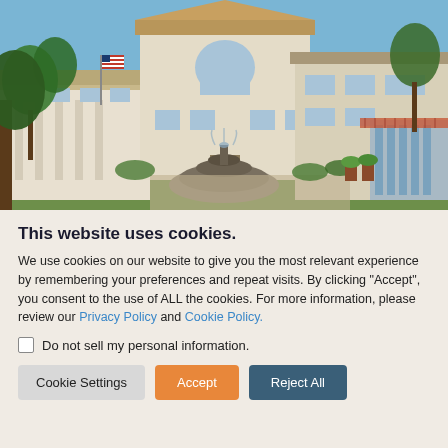[Figure (photo): Exterior photo of a residential or assisted living building complex with a large decorative fountain in the foreground, surrounded by greenery and trees under a blue sky. The buildings are multi-story with white/beige stucco facades, arched windows, an American flag, balconies, and a covered entrance on the right.]
This website uses cookies.
We use cookies on our website to give you the most relevant experience by remembering your preferences and repeat visits. By clicking “Accept”, you consent to the use of ALL the cookies. For more information, please review our Privacy Policy and Cookie Policy.
Do not sell my personal information.
Cookie Settings | Accept | Reject All